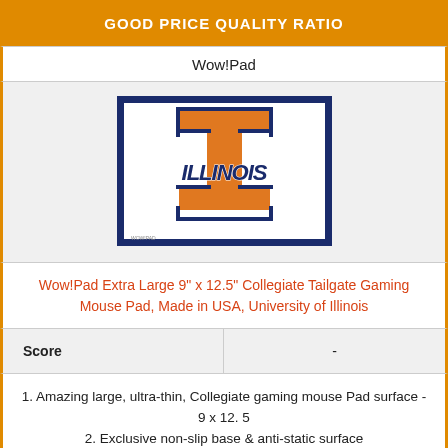GOOD PRICE QUALITY RATIO
Wow!Pad
[Figure (logo): University of Illinois Fighting Illini logo mouse pad — orange block I with ILLINOIS text on a white background with dark navy border]
Wow!Pad Extra Large 9" x 12.5" Collegiate Tailgate Gaming Mouse Pad, Made in USA, University of Illinois
| Score | - |
| --- | --- |
1. Amazing large, ultra-thin, Collegiate gaming mouse Pad surface - 9 x 12. 5
2. Exclusive non-slip base & anti-static surface
3. Wipe Clean No Glare Matte Surface with